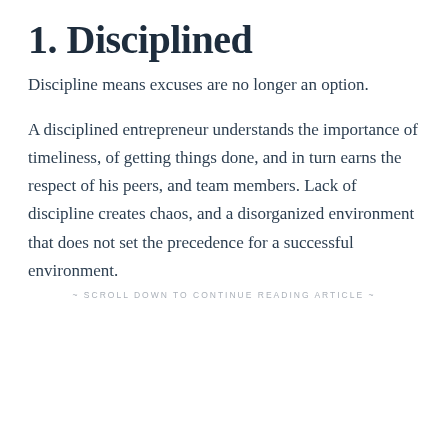1. Disciplined
Discipline means excuses are no longer an option.
A disciplined entrepreneur understands the importance of timeliness, of getting things done, and in turn earns the respect of his peers, and team members. Lack of discipline creates chaos, and a disorganized environment that does not set the precedence for a successful environment.
~ SCROLL DOWN TO CONTINUE READING ARTICLE ~